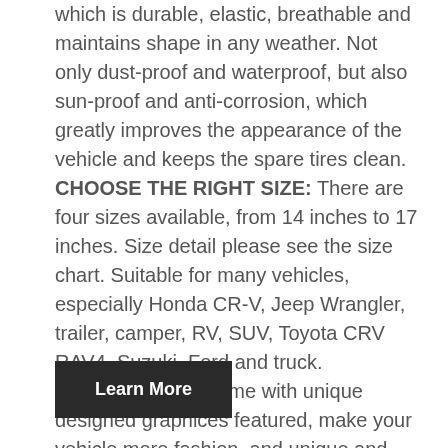which is durable, elastic, breathable and maintains shape in any weather. Not only dust-proof and waterproof, but also sun-proof and anti-corrosion, which greatly improves the appearance of the vehicle and keeps the spare tires clean. CHOOSE THE RIGHT SIZE: There are four sizes available, from 14 inches to 17 inches. Size detail please see the size chart. Suitable for many vehicles, especially Honda CR-V, Jeep Wrangler, trailer, camper, RV, SUV, Toyota CRV RAV4, Suzuki, Ford and truck. BEST DESIGN: Come with unique designed graphices featured, make your vehicle more fashion, and unique and fun pattern does not fade. and there is thick elasticated hem sewn inside the mouth of the cover to ensure the cover fits tightly and snugly to your spare wheel.
Learn More